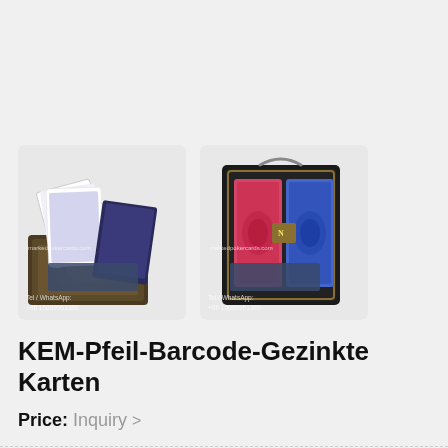[Figure (photo): Two product images of KEM Arrow marked playing card decks in decorative tins/boxes. Left image shows cards fanned out with box, right image shows two card decks in a black decorative tin. Both images have watermark 'markedpokercards.com' and contact info 'Tel / WhatsApp: +86 15099951380'.]
KEM-Pfeil-Barcode-Gezinkte Karten
Price: Inquiry >